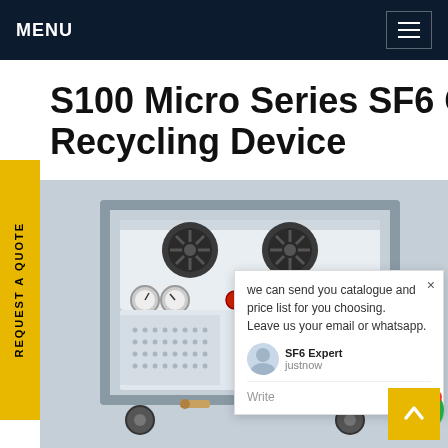MENU
S100 Micro Series SF6 Gas Recycling Device
we can send you catalogue and price list for you choosing. Leave us your email or whatsapp.
SF6 Expert  justnow
Write
REQUEST A QUOTE
[Figure (photo): SF6 gas recycling device (S100 Micro Series) mounted on a wheeled cart frame, white enclosure with fans, gauges, and control panel on top, perforated side panels]
Back to top arrow button